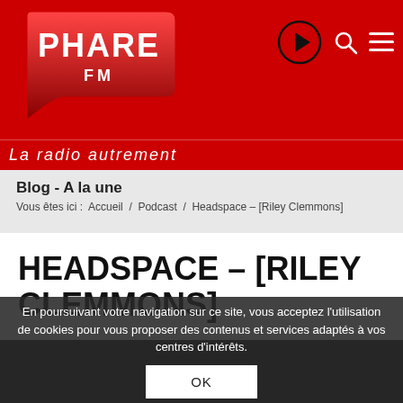[Figure (logo): Phare FM logo on red background with tagline 'La radio autrement']
Blog - A la une
Vous êtes ici :  Accueil  /  Podcast  /  Headspace – [Riley Clemmons]
HEADSPACE – [RILEY CLEMMONS]
En poursuivant votre navigation sur ce site, vous acceptez l'utilisation de cookies pour vous proposer des contenus et services adaptés à vos centres d'intérêts.
OK